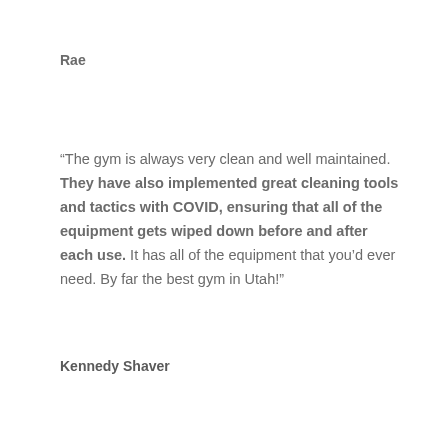Rae
“The gym is always very clean and well maintained. They have also implemented great cleaning tools and tactics with COVID, ensuring that all of the equipment gets wiped down before and after each use. It has all of the equipment that you’d ever need. By far the best gym in Utah!”
Kennedy Shaver